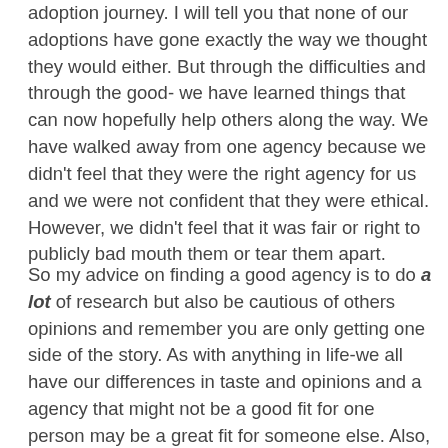adoption journey. I will tell you that none of our adoptions have gone exactly the way we thought they would either. But through the difficulties and through the good- we have learned things that can now hopefully help others along the way. We have walked away from one agency because we didn't feel that they were the right agency for us and we were not confident that they were ethical. However, we didn't feel that it was fair or right to publicly bad mouth them or tear them apart.
So my advice on finding a good agency is to do a lot of research but also be cautious of others opinions and remember you are only getting one side of the story. As with anything in life-we all have our differences in taste and opinions and a agency that might not be a good fit for one person may be a great fit for someone else. Also, some agencies may have an excellent program and good contacts in one country but not necessarily for all of the countries they work with.
Allow room for human error- from your agency and from you. Pray a lot and then let God lead you to your child. The journey may be full of bumps-but worth every single one of